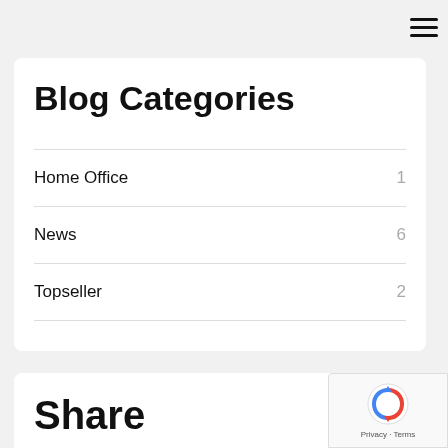Blog Categories
Home Office 1
News 6
Topseller 2
Share